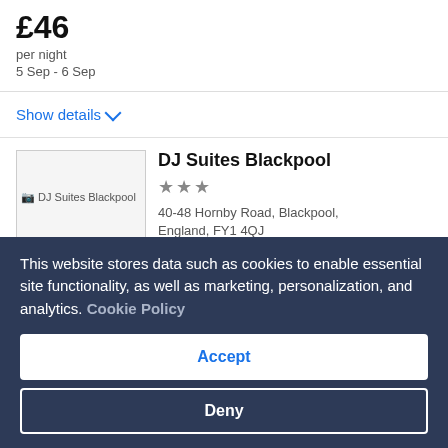£46
per night
5 Sep - 6 Sep
Show details
[Figure (photo): DJ Suites Blackpool hotel placeholder image]
DJ Suites Blackpool
★★★
40-48 Hornby Road, Blackpool, England, FY1 4QJ
This website stores data such as cookies to enable essential site functionality, as well as marketing, personalization, and analytics. Cookie Policy
Accept
Deny